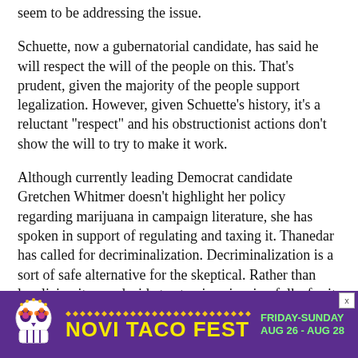seem to be addressing the issue.
Schuette, now a gubernatorial candidate, has said he will respect the will of the people on this. That's prudent, given the majority of the people support legalization. However, given Schuette's history, it's a reluctant "respect" and his obstructionist actions don't show the will to try to make it work.
Although currently leading Democrat candidate Gretchen Whitmer doesn't highlight her policy regarding marijuana in campaign literature, she has spoken in support of regulating and taxing it. Thanedar has called for decriminalization. Decriminalization is a sort of safe alternative for the skeptical. Rather than legalizing it, you decide to stop imprisoning folks for it.
[Figure (infographic): Novi Taco Fest advertisement banner with purple background, sugar skull graphic, yellow title text 'NOVI TACO FEST', and green text 'FRIDAY-SUNDAY AUG 26 - AUG 28']